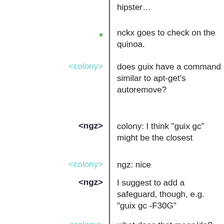hipster…
* nckx goes to check on the quinoa.
<colony> does guix have a command similar to apt-get's autoremove?
<ngz> colony: I think "guix gc" might be the closest
<colony> ngz: nice
<ngz> I suggest to add a safeguard, though, e.g. "guix gc -F30G"
<colony> what does that mean/do?
<OriansJ> ngz: the default guix gc